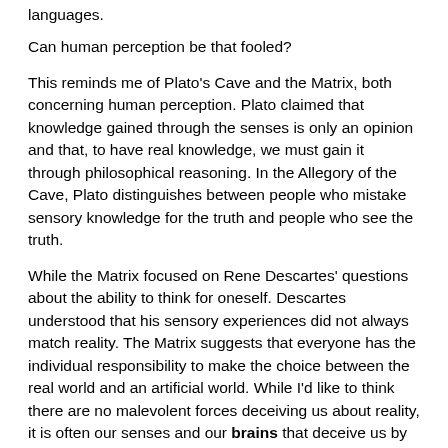languages.
Can human perception be that fooled?
This reminds me of Plato's Cave and the Matrix, both concerning human perception. Plato claimed that knowledge gained through the senses is only an opinion and that, to have real knowledge, we must gain it through philosophical reasoning. In the Allegory of the Cave, Plato distinguishes between people who mistake sensory knowledge for the truth and people who see the truth.
While the Matrix focused on Rene Descartes' questions about the ability to think for oneself. Descartes understood that his sensory experiences did not always match reality. The Matrix suggests that everyone has the individual responsibility to make the choice between the real world and an artificial world. While I'd like to think there are no malevolent forces deceiving us about reality, it is often our senses and our brains that deceive us by providing the limited information on which our perception of reality is based, and we use that information to construct models of the world. The truth is we do live in the Matrix, one composed of 86 billion neurons, and 100 trillion synapses.
Apparatus for Dea...